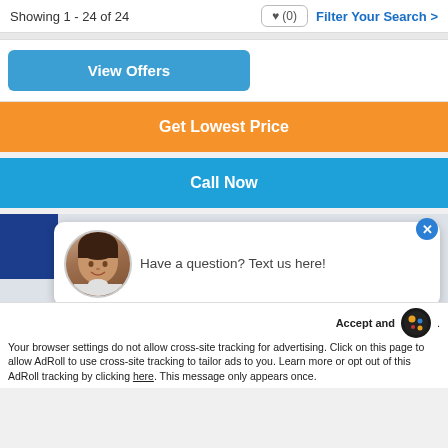Showing 1 - 24 of 24  ♥ (0)  Filter Your Search >
View Offers
Get Lowest Price
Call Now
[Figure (photo): Chat popup with woman avatar and text: Have a question? Text us here!]
Have a question? Text us here!
Accept and
Your browser settings do not allow cross-site tracking for advertising. Click on this page to allow AdRoll to use cross-site tracking to tailor ads to you. Learn more or opt out of this AdRoll tracking by clicking here. This message only appears once.